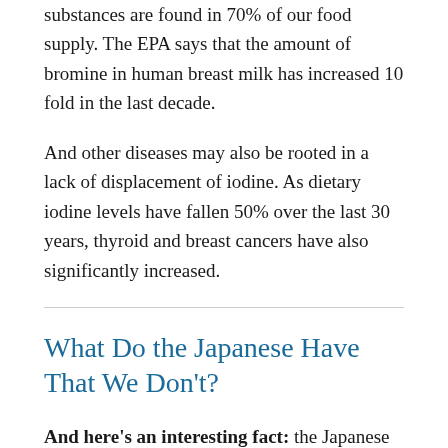substances are found in 70% of our food supply. The EPA says that the amount of bromine in human breast milk has increased 10 fold in the last decade.
And other diseases may also be rooted in a lack of displacement of iodine. As dietary iodine levels have fallen 50% over the last 30 years, thyroid and breast cancers have also significantly increased.
What Do the Japanese Have That We Don't?
And here's an interesting fact: the Japanese eat, on average, about 13 mg of iodine on a daily basis, and their rates of heart disease, cancer, adult and infant mortality are among the lowest in the industrialized world.